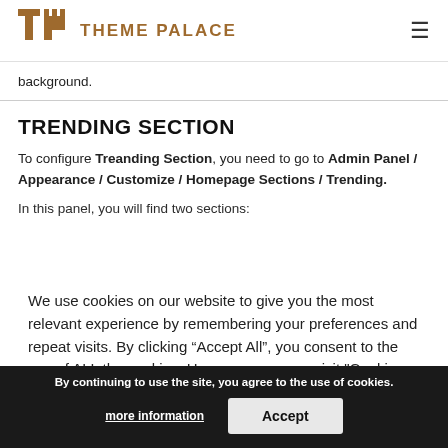THEME PALACE
background.
TRENDING SECTION
To configure Treanding Section, you need to go to Admin Panel / Appearance / Customize / Homepage Sections / Trending.
In this panel, you will find two sections:
We use cookies on our website to give you the most relevant experience by remembering your preferences and repeat visits. By clicking “Accept All”, you consent to the use of ALL the cookies. However, you may visit "Cookie Settings" to provide a controlled consent.
By continuing to use the site, you agree to the use of cookies.